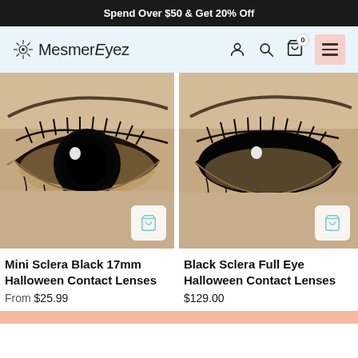Spend Over $50 & Get 20% Off
[Figure (logo): MesmerEyez logo with decorative mandala icon]
[Figure (photo): Close-up of an eye wearing Mini Sclera Black 17mm Halloween contact lens with dramatic makeup]
Mini Sclera Black 17mm Halloween Contact Lenses
From $25.99
[Figure (photo): Close-up of an eye wearing Black Sclera Full Eye Halloween contact lens with dramatic makeup]
Black Sclera Full Eye Halloween Contact Lenses
$129.00